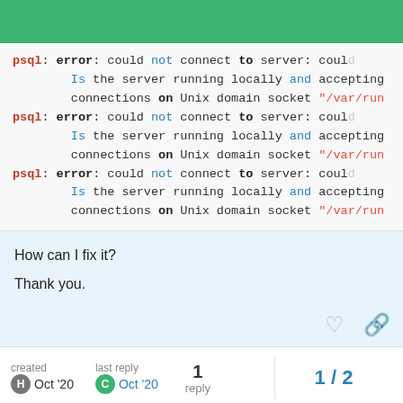[Figure (screenshot): Terminal/code block showing repeated psql error messages: 'psql: error: could not connect to server: could not ... Is the server running locally and accepting connections on Unix domain socket "/var/run..."' — repeated three times with syntax highlighting (pink for psql/error, blue for not/and, red for /var/run string).]
How can I fix it?
Thank you.
created Oct '20   last reply Oct '20   1 reply   1 / 2